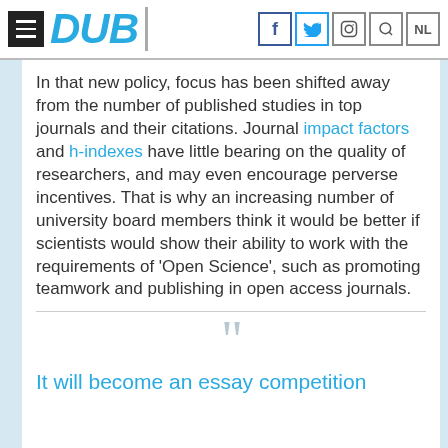DUB
In that new policy, focus has been shifted away from the number of published studies in top journals and their citations. Journal impact factors and h-indexes have little bearing on the quality of researchers, and may even encourage perverse incentives. That is why an increasing number of university board members think it would be better if scientists would show their ability to work with the requirements of 'Open Science', such as promoting teamwork and publishing in open access journals.
It will become an essay competition